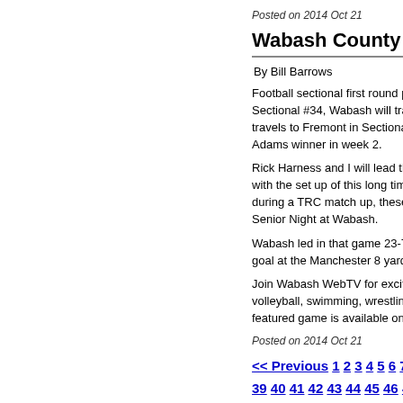Posted on 2014 Oct 21
Wabash County high school
By Bill Barrows
Football sectional first round pa... Sectional #34, Wabash will trave... travels to Fremont in Sectional #... Adams winner in week 2.
Rick Harness and I will lead the b... with the set up of this long time... during a TRC match up, these tw... Senior Night at Wabash.
Wabash led in that game 23-7 a... goal at the Manchester 8 yard lin...
Join Wabash WebTV for exciting... volleyball, swimming, wrestling a... featured game is available on the...
Posted on 2014 Oct 21
<< Previous 1 2 3 4 5 6 7 8 9 10... 39 40 41 42 43 44 45 46 47 48 49... 78 79 80 81 82 83 84 85 86 87 8... 112 113 114 115 116 117 118...